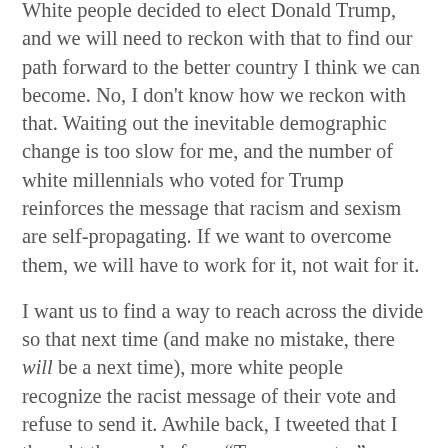White people decided to elect Donald Trump, and we will need to reckon with that to find our path forward to the better country I think we can become. No, I don't know how we reckon with that. Waiting out the inevitable demographic change is too slow for me, and the number of white millennials who voted for Trump reinforces the message that racism and sexism are self-propagating. If we want to overcome them, we will have to work for it, not wait for it.
I want us to find a way to reach across the divide so that next time (and make no mistake, there will be a next time), more white people recognize the racist message of their vote and refuse to send it. Awhile back, I tweeted that I thought the people from "Trump country" explaining those voters to the rest of us would be more useful doing the reverse: explaining us and our reality to the Trump voters. I hope some of them take up that work. Somehow, I want to find a way to contribute to that, although the only attribute I have that would recommend me to a Trump voter is my white skin.
But those are thoughts for another day, a few weeks from now maybe, when the reality has settled in and no longer churns my stomach.